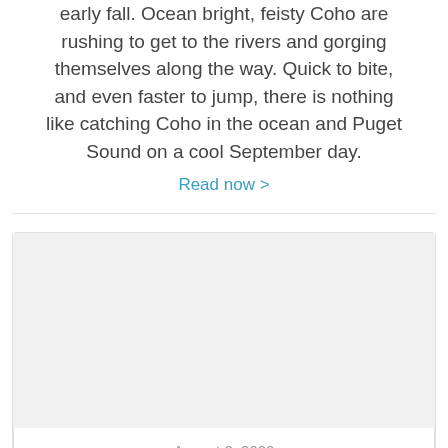early fall. Ocean bright, feisty Coho are rushing to get to the rivers and gorging themselves along the way. Quick to bite, and even faster to jump, there is nothing like catching Coho in the ocean and Puget Sound on a cool September day.
Read now >
[Figure (photo): Large light gray placeholder image for article about Late Summer Rainbow Trout Fishing]
August 2, 2022
Late Summer Rainbow Trout Fishing